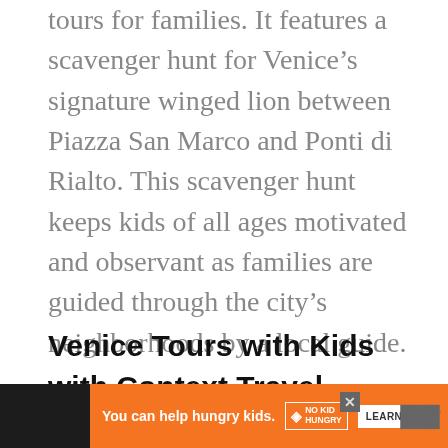tours for families. It features a scavenger hunt for Venice’s signature winged lion between Piazza San Marco and Ponti di Rialto. This scavenger hunt keeps kids of all ages motivated and observant as families are guided through the city’s neighborhoods by a local guide.
Venice Tours with Kids with Context Travel
[Figure (photo): Partial view of Venice skyline with blue sky and water, image cropped at bottom of page]
[Figure (screenshot): Advertisement bar: orange banner reading 'You can help hungry kids.' with No Kid Hungry logo and LEARN HOW button, on dark background with WNN logo]